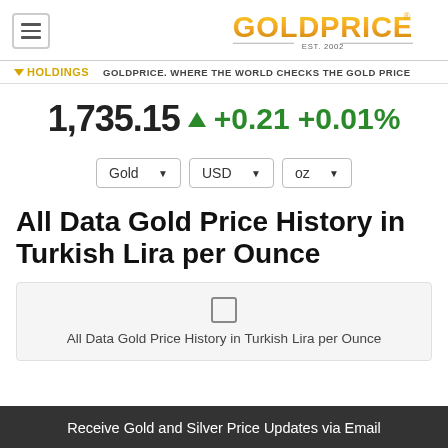[Figure (logo): GOLDPRICE logo with EST. 2002 tagline]
HOLDINGS | GOLDPRICE. WHERE THE WORLD CHECKS THE GOLD PRICE
1,735.15 ▲ +0.21 +0.01%
Gold | USD | oz
All Data Gold Price History in Turkish Lira per Ounce
[Figure (other): Chart placeholder box with label: All Data Gold Price History in Turkish Lira per Ounce]
Receive Gold and Silver Price Updates via Email